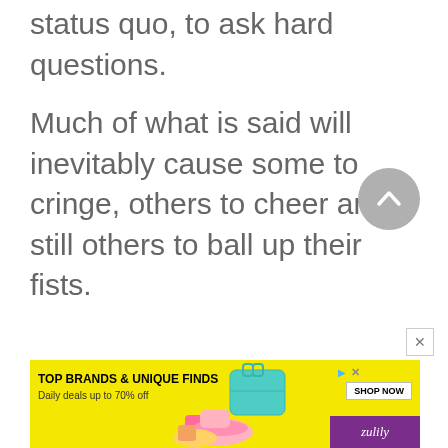status quo, to ask hard questions.
Much of what is said will inevitably cause some to cringe, others to cheer and still others to ball up their fists.
[Figure (other): Scroll-to-top button (circular grey arrow up button) and close (X) button overlay]
[Figure (other): Advertisement banner for Zulily: TOP BRANDS & UNIQUE FINDS, Daily deals up to 70% off, with SHOP NOW button, product images (shoes, handbag), yellow and purple background]